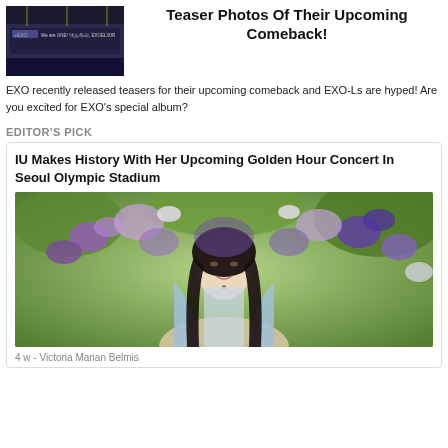[Figure (photo): EXO thumbnail image with dark background showing EXO branding text]
Teaser Photos Of Their Upcoming Comeback!
EXO recently released teasers for their upcoming comeback and EXO-Ls are hyped! Are you excited for EXO's special album?
EDITOR'S PICK
IU Makes History With Her Upcoming Golden Hour Concert In Seoul Olympic Stadium
[Figure (photo): IU standing in front of colorful purple and green flowers, wearing a light blue top]
4 w - Victoria Marian Belmis